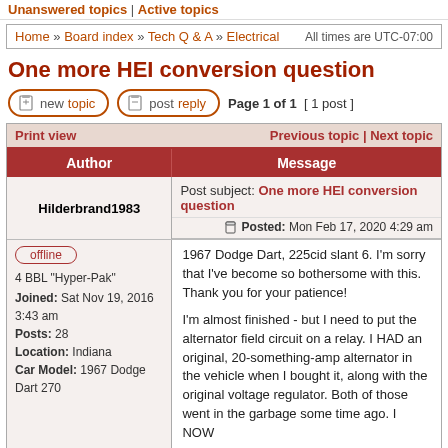Unanswered topics | Active topics
Home » Board index » Tech Q & A » Electrical    All times are UTC-07:00
One more HEI conversion question
new topic   post reply   Page 1 of 1  [ 1 post ]
| Author | Message |
| --- | --- |
| Hilderbrand1983 | Post subject: One more HEI conversion question
Posted: Mon Feb 17, 2020 4:29 am |
| offline
4 BBL "Hyper-Pak"
Joined: Sat Nov 19, 2016 3:43 am
Posts: 28
Location: Indiana
Car Model: 1967 Dodge Dart 270 | 1967 Dodge Dart, 225cid slant 6. I'm sorry that I've become so bothersome with this. Thank you for your patience!

I'm almost finished - but I need to put the alternator field circuit on a relay. I HAD an original, 20-something-amp alternator in the vehicle when I bought it, along with the original voltage regulator. Both of those went in the garbage some time ago. I NOW |